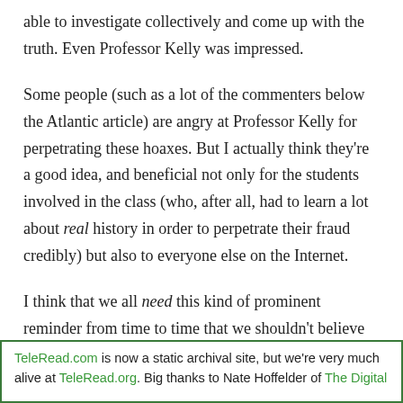able to investigate collectively and come up with the truth. Even Professor Kelly was impressed.
Some people (such as a lot of the commenters below the Atlantic article) are angry at Professor Kelly for perpetrating these hoaxes. But I actually think they're a good idea, and beneficial not only for the students involved in the class (who, after all, had to learn a lot about real history in order to perpetrate their fraud credibly) but also to everyone else on the Internet.
I think that we all need this kind of prominent reminder from time to time that we shouldn't believe everything we read on the Internet. For next time, I suggest you consider to
TeleRead.com is now a static archival site, but we're very much alive at TeleRead.org. Big thanks to Nate Hoffelder of The Digital